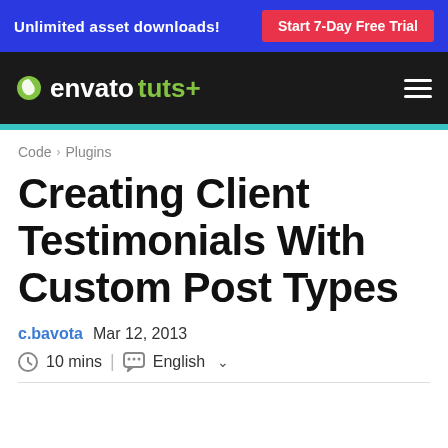Unlimited asset downloads! | Start 7-Day Free Trial
[Figure (logo): Envato Tuts+ logo with leaf icon and hamburger menu on dark background]
Code > Plugins
Creating Client Testimonials With Custom Post Types
c.bavota  Mar 12, 2013
10 mins | English